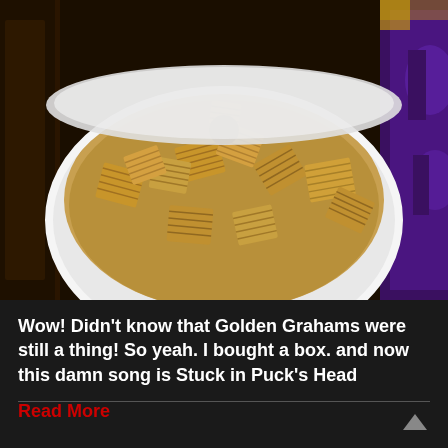[Figure (photo): A white bowl filled with Golden Grahams cereal pieces (square, ridged, golden-brown crackers). In the background, a Golden Grahams cereal box is partially visible with purple and yellow colors.]
Wow! Didn't know that Golden Grahams were still a thing! So yeah. I bought a box. and now this damn song is Stuck in Puck's Head
Read More